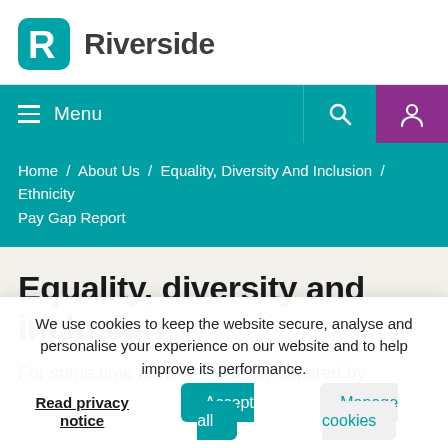[Figure (logo): Riverside logo: teal rounded square with white R letter icon, followed by bold dark text 'Riverside']
Menu | Search | Account
Home / About Us / Equality, Diversity And Inclusion / Ethnicity Pay Gap Report
Equality, diversity and inclusion
For some time now, we've been required by
We use cookies to keep the website secure, analyse and personalise your experience on our website and to help improve its performance.
Read privacy notice | Accept all | Manage cookies